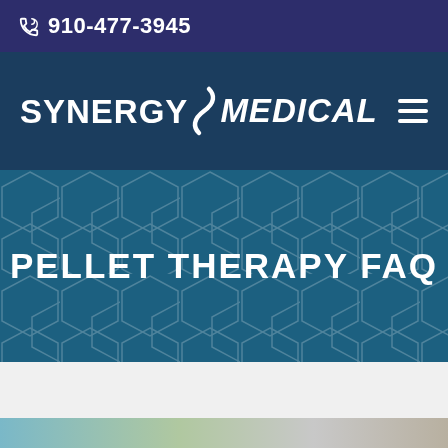910-477-3945
SYNERGY MEDICAL
PELLET THERAPY FAQ
[Figure (photo): Bottom image strip showing partial medical/clinical imagery]